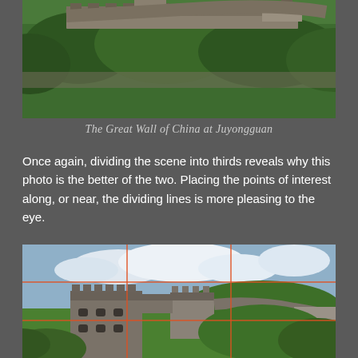[Figure (photo): Aerial view of the Great Wall of China at Juyongguan winding through lush green hills]
The Great Wall of China at Juyongguan
Once again, dividing the scene into thirds reveals why this photo is the better of the two. Placing the points of interest along, or near, the dividing lines is more pleasing to the eye.
[Figure (photo): The Great Wall of China at Juyongguan with rule-of-thirds grid overlay in orange lines showing two vertical and two horizontal dividing lines]